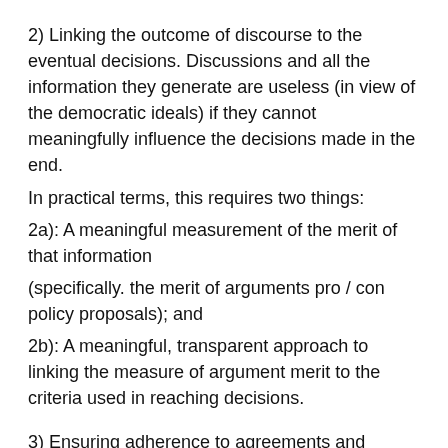2) Linking the outcome of discourse to the eventual decisions. Discussions and all the information they generate are useless (in view of the democratic ideals) if they cannot meaningfully influence the decisions made in the end.
In practical terms, this requires two things:
2a): A meaningful measurement of the merit of that information
(specifically. the merit of arguments pro / con policy proposals); and
2b): A meaningful, transparent approach to linking the measure of argument merit to the criteria used in reaching decisions.
3) Ensuring adherence to agreements and decisions: the problem of sanctions. To the extent societal decisions